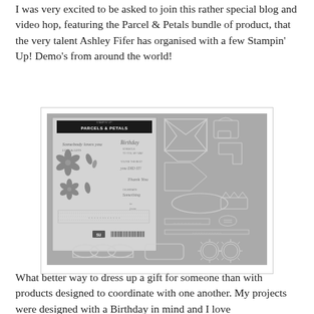I was very excited to be asked to join this rather special blog and video hop, featuring the Parcel & Petals bundle of product, that the very talent Ashley Fifer has organised with a few Stampin' Up! Demo's from around the world!
[Figure (photo): Product image of the Parcels & Petals stamp set and coordinating dies bundle by Stampin' Up!, displayed on a grey background. The stamp set is shown in its packaging on the left with floral/script stamps visible, and the dies are shown on the right including box/envelope shapes, label dies, and decorative edge dies.]
What better way to dress up a gift for someone than with products designed to coordinate with one another.  My projects were designed with a Birthday in mind and I love